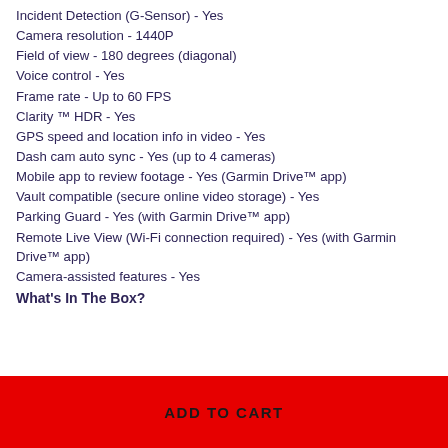Incident Detection (G-Sensor) - Yes
Camera resolution - 1440P
Field of view - 180 degrees (diagonal)
Voice control - Yes
Frame rate - Up to 60 FPS
Clarity ™ HDR - Yes
GPS speed and location info in video - Yes
Dash cam auto sync - Yes (up to 4 cameras)
Mobile app to review footage - Yes (Garmin Drive™ app)
Vault compatible (secure online video storage) - Yes
Parking Guard - Yes (with Garmin Drive™ app)
Remote Live View (Wi-Fi connection required) - Yes (with Garmin Drive™ app)
Camera-assisted features - Yes
What's In The Box?
ADD TO CART